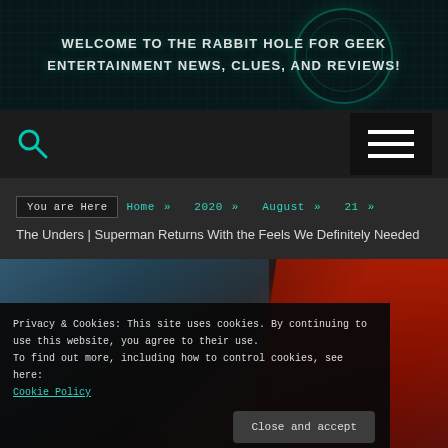WELCOME TO THE RABBIT HOLE FOR GEEK ENTERTAINMENT NEWS, CLUES, AND REVIEWS!
[Figure (screenshot): Navigation bar with search icon (teal magnifying glass) on the left and hamburger menu button (black box with three white lines) on the right]
You are Here  Home » 2020 » August » 21 »
The Unders | Superman Returns With the Feels We Definitely Needed
[Figure (photo): Superman movie promotional image with dark background]
Privacy & Cookies: This site uses cookies. By continuing to use this website, you agree to their use.
To find out more, including how to control cookies, see here:
Cookie Policy
Close and accept